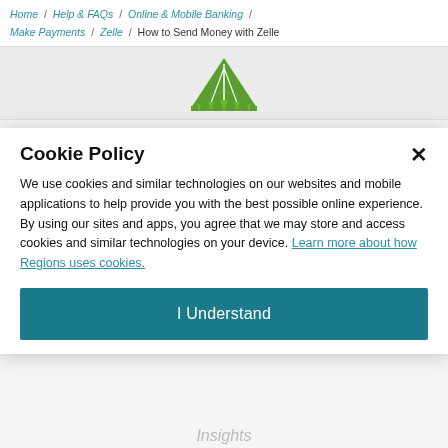Home / Help & FAQs / Online & Mobile Banking / Make Payments / Zelle / How to Send Money with Zelle
[Figure (logo): Regions Bank green triangle logo mark]
Personal
Cookie Policy
We use cookies and similar technologies on our websites and mobile applications to help provide you with the best possible online experience. By using our sites and apps, you agree that we may store and access cookies and similar technologies on your device. Learn more about how Regions uses cookies.
I Understand
Insights